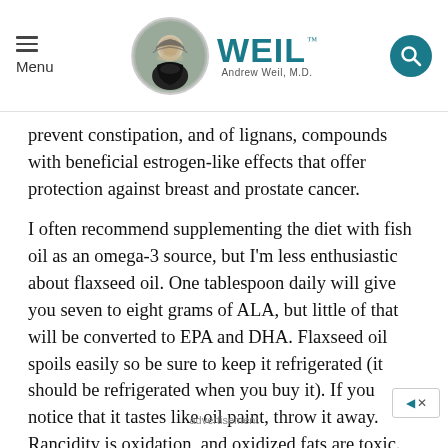Menu | WEIL™ Andrew Weil, M.D.
prevent constipation, and of lignans, compounds with beneficial estrogen-like effects that offer protection against breast and prostate cancer.
I often recommend supplementing the diet with fish oil as an omega-3 source, but I'm less enthusiastic about flaxseed oil. One tablespoon daily will give you seven to eight grams of ALA, but little of that will be converted to EPA and DHA. Flaxseed oil spoils easily so be sure to keep it refrigerated (it should be refrigerated when you buy it). If you notice that it tastes like oil paint, throw it away. Rancidity is oxidation, and oxidized fats are toxic.
advertisement